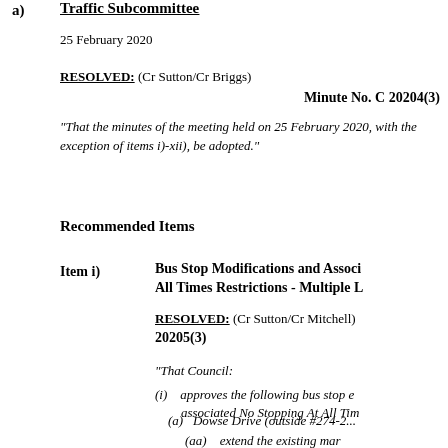a)  Traffic Subcommittee
25 February 2020
RESOLVED:  (Cr Sutton/Cr Briggs)
Minute No. C 20204(3)
“That the minutes of the meeting held on 25 February 2020, with the exception of items i)-xii), be adopted.”
Recommended Items
Item i)  Bus Stop Modifications and Associated No Stopping At All Times Restrictions - Multiple Locations
RESOLVED:  (Cr Sutton/Cr Mitchell)
Minute No. C 20205(3)
“That Council:
(i)   approves the following bus stop extensions and associated No Stopping At All Times restrictions:
(a)   Dowse Drive (outside #274-2...
(aa)  extend the existing markings metres (4.0m addition) as...